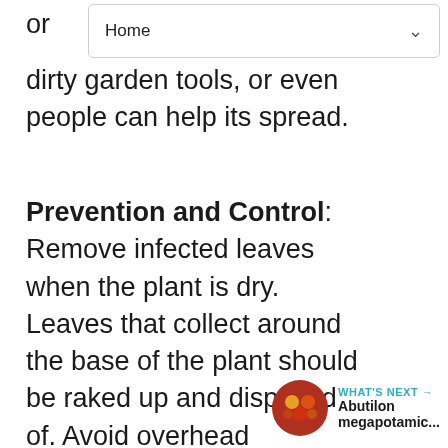Home
or dirty garden tools, or even people can help its spread.
Prevention and Control: Remove infected leaves when the plant is dry. Leaves that collect around the base of the plant should be raked up and disposed of. Avoid overhead irrigation if possible; water should be directed at soil level. For fungal leaf spots, use a recommended fungicide according to label directions.
[Figure (other): What's Next panel showing Abutilon megapotamic... with thumbnail image]
[Figure (other): Like/heart button showing teal circular icon with heart symbol and count of 1]
[Figure (other): Share button showing circular icon with share symbol]